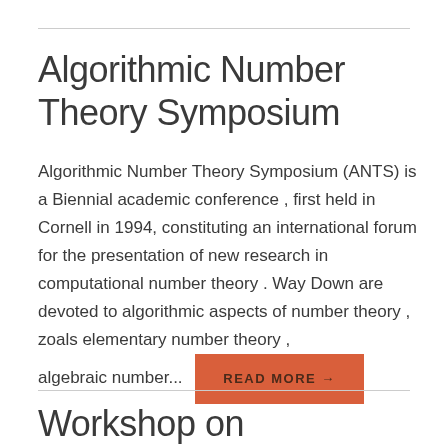Algorithmic Number Theory Symposium
Algorithmic Number Theory Symposium (ANTS) is a Biennial academic conference , first held in Cornell in 1994, constituting an international forum for the presentation of new research in computational number theory . Way Down are devoted to algorithmic aspects of number theory , zoals elementary number theory , algebraic number...
Workshop on Cryptographic